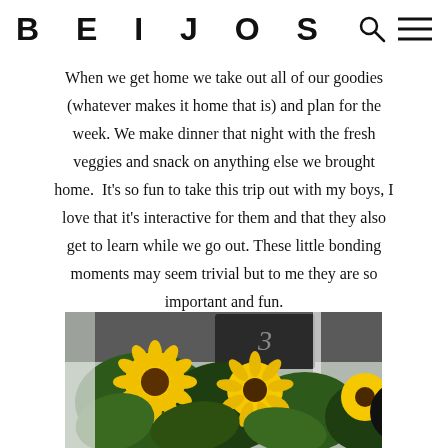BEIJOS
When we get home we take out all of our goodies (whatever makes it home that is) and plan for the week. We make dinner that night with the fresh veggies and snack on anything else we brought home.  It’s so fun to take this trip out with my boys, I love that it’s interactive for them and that they also get to learn while we go out. These little bonding moments may seem trivial but to me they are so important and fun.
[Figure (photo): Photograph of bright yellow sunflowers with green leaves, taken at a farmers market. A chalkboard sign is visible in the background. A black circular share button with a network/share icon is overlaid in the bottom right corner.]